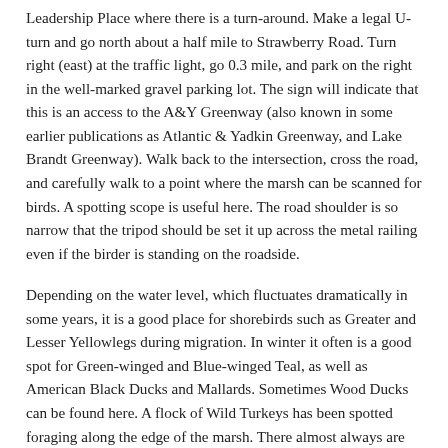Leadership Place where there is a turn-around. Make a legal U-turn and go north about a half mile to Strawberry Road. Turn right (east) at the traffic light, go 0.3 mile, and park on the right in the well-marked gravel parking lot. The sign will indicate that this is an access to the A&Y Greenway (also known in some earlier publications as Atlantic & Yadkin Greenway, and Lake Brandt Greenway). Walk back to the intersection, cross the road, and carefully walk to a point where the marsh can be scanned for birds. A spotting scope is useful here. The road shoulder is so narrow that the tripod should be set it up across the metal railing even if the birder is standing on the roadside.
Depending on the water level, which fluctuates dramatically in some years, it is a good place for shorebirds such as Greater and Lesser Yellowlegs during migration. In winter it often is a good spot for Green-winged and Blue-winged Teal, as well as American Black Ducks and Mallards. Sometimes Wood Ducks can be found here. A flock of Wild Turkeys has been spotted foraging along the edge of the marsh. There almost always are wading birds such as Green Herons (summer) and Great Egrets (late summer), and Great Blue Herons (all year) have nested here in the cypress trees at the northwestern edge of the marsh. The resident Bald Eagles built a new nest back in the